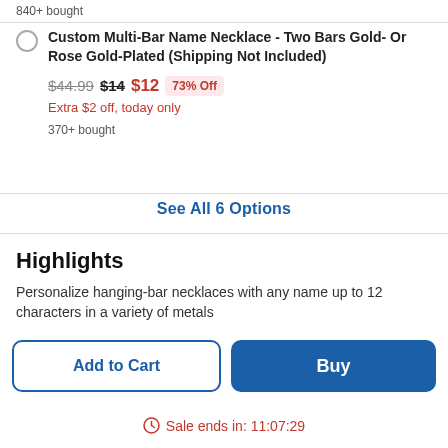840+ bought
Custom Multi-Bar Name Necklace - Two Bars Gold- Or Rose Gold-Plated (Shipping Not Included)
$44.99 $14 $12 73% Off
Extra $2 off, today only
370+ bought
See All 6 Options
Highlights
Personalize hanging-bar necklaces with any name up to 12 characters in a variety of metals
Add to Cart
Buy
Sale ends in: 11:07:29